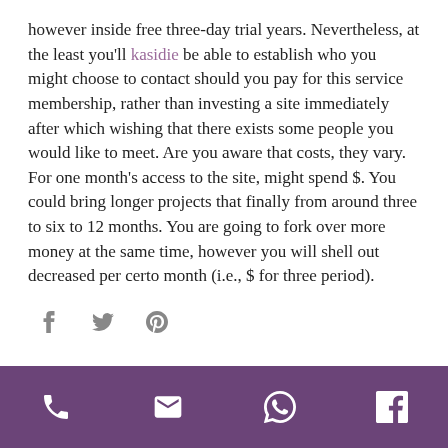however inside free three-day trial years. Nevertheless, at the least you'll kasidie be able to establish who you might choose to contact should you pay for this service membership, rather than investing a site immediately after which wishing that there exists some people you would like to meet. Are you aware that costs, they vary. For one month's access to the site, might spend $. You could bring longer projects that finally from around three to six to 12 months. You are going to fork over more money at the same time, however you will shell out decreased per certo month (i.e., $ for three period).
[Figure (other): Three social share icons: Facebook (f), Twitter (bird), Pinterest (p)]
Footer bar with phone, email, WhatsApp, and Facebook icons